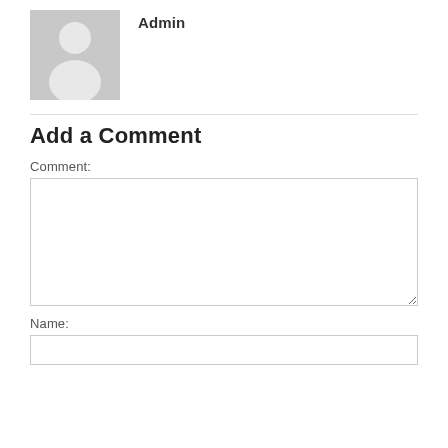[Figure (illustration): Generic gray user avatar placeholder image showing silhouette of a person]
Admin
Add a Comment
Comment:
Name: